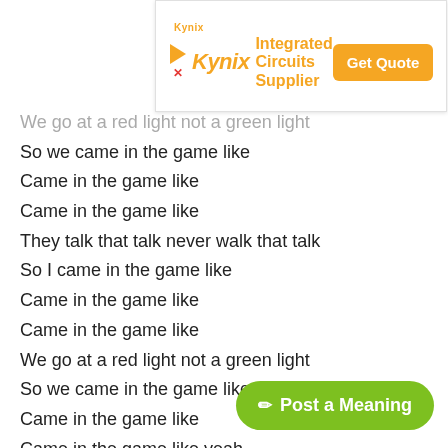[Figure (infographic): Kynix Integrated Circuits Supplier advertisement banner with orange Get Quote button]
We go at a red light not a green light
So we came in the game like
Came in the game like
Came in the game like
They talk that talk never walk that talk
So I came in the game like
Came in the game like
Came in the game like
We go at a red light not a green light
So we came in the game like
Came in the game like
Came in the game like yeah
Grindin' non stopping and ball every season
Better get use to it cause I'm not leaving
You think I should then give me a reason
Calling me Abraham cause we no
Life is a movie it bring in the action